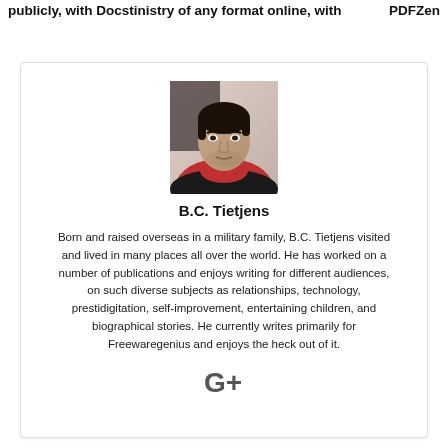publicly, with Docstinistry of any format online, with PDFZen
[Figure (photo): Headshot photo of B.C. Tietjens, a man with dark hair and beard wearing a red and black jacket]
B.C. Tietjens
Born and raised overseas in a military family, B.C. Tietjens visited and lived in many places all over the world. He has worked on a number of publications and enjoys writing for different audiences, on such diverse subjects as relationships, technology, prestidigitation, self-improvement, entertaining children, and biographical stories. He currently writes primarily for Freewaregenius and enjoys the heck out of it.
[Figure (logo): Google+ social media icon (G+)]